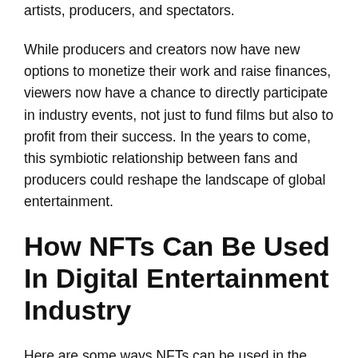entertainment business is now welcoming a broader range of artists, producers, and spectators.
While producers and creators now have new options to monetize their work and raise finances, viewers now have a chance to directly participate in industry events, not just to fund films but also to profit from their success. In the years to come, this symbiotic relationship between fans and producers could reshape the landscape of global entertainment.
How NFTs Can Be Used In Digital Entertainment Industry
Here are some ways NFTs can be used in the entertainment industry. Have a look: